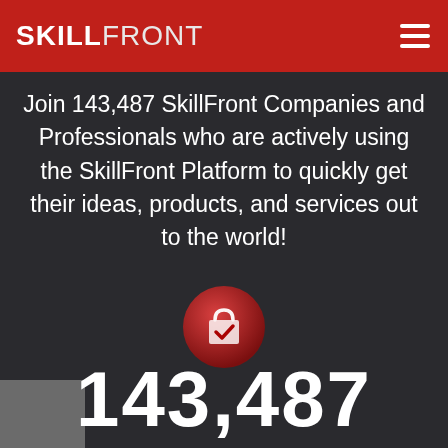SKILLFRONT
Join 143,487 SkillFront Companies and Professionals who are actively using the SkillFront Platform to quickly get their ideas, products, and services out to the world!
[Figure (illustration): Red circular button with a shopping bag and checkmark icon]
143,487